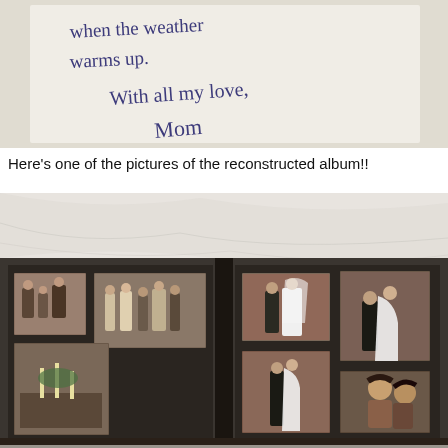[Figure (photo): Close-up photograph of handwritten note on white paper reading 'when the weather warms up. With all my love, Mom']
Here's one of the pictures of the reconstructed album!!
[Figure (photo): Photograph of an open black photo album lying on a white surface, containing multiple wedding photos arranged on dark pages showing couples and wedding party scenes from what appears to be a vintage wedding]